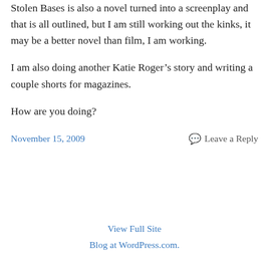Stolen Bases is also a novel turned into a screenplay and that is all outlined, but I am still working out the kinks, it may be a better novel than film, I am working.
I am also doing another Katie Roger’s story and writing a couple shorts for magazines.
How are you doing?
November 15, 2009
Leave a Reply
View Full Site
Blog at WordPress.com.